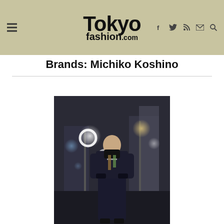TokyoFashion.com — navigation bar with hamburger menu and social icons
[Figure (logo): TokyoFashion.com logo in bold black text on beige/khaki background]
Brands: Michiko Koshino
[Figure (photo): Street fashion photo of a person in a dark outfit with a black face mask, standing on a Tokyo street at night with bokeh lights in the background]